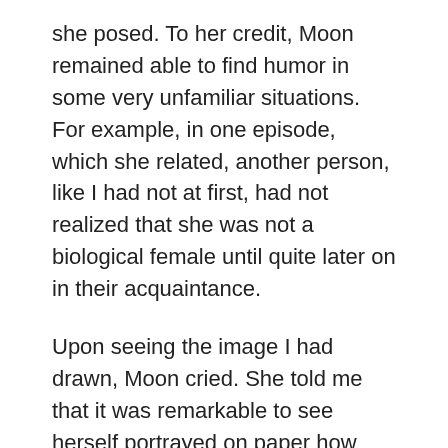she posed. To her credit, Moon remained able to find humor in some very unfamiliar situations. For example, in one episode, which she related, another person, like I had not at first, had not realized that she was not a biological female until quite later on in their acquaintance.
Upon seeing the image I had drawn, Moon cried. She told me that it was remarkable to see herself portrayed on paper how she wished to be seen. She said she had a disconnect between her image in a mirror and how she imagined herself in her mind, but the drawing bridged that gap.